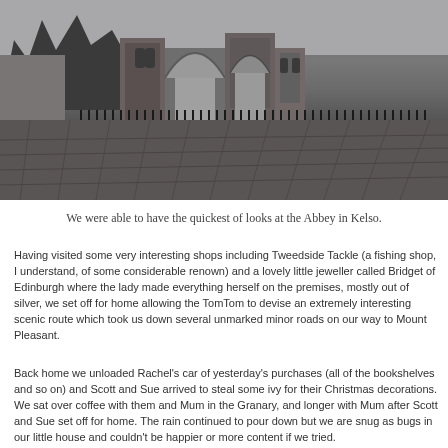[Figure (photo): Black and white photograph of the Abbey ruins in Kelso, Scotland. The image shows a cobblestone road leading toward large Gothic stone arches and ruined walls of the abbey. Bare winter trees are visible on the left side, and an iron fence runs along the path. The sky is overcast.]
We were able to have the quickest of looks at the Abbey in Kelso.
Having visited some very interesting shops including Tweedside Tackle (a fishing shop, I understand, of some considerable renown) and a lovely little jeweller called Bridget of Edinburgh where the lady made everything herself on the premises, mostly out of silver, we set off for home allowing the TomTom to devise an extremely interesting scenic route which took us down several unmarked minor roads on our way to Mount Pleasant.
Back home we unloaded Rachel's car of yesterday's purchases (all of the bookshelves and so on) and Scott and Sue arrived to steal some ivy for their Christmas decorations. We sat over coffee with them and Mum in the Granary, and longer with Mum after Scott and Sue set off for home. The rain continued to pour down but we are snug as bugs in our little house and couldn't be happier or more content if we tried.